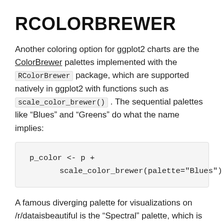RCOLORBREWER
Another coloring option for ggplot2 charts are the ColorBrewer palettes implemented with the RColorBrewer package, which are supported natively in ggplot2 with functions such as scale_color_brewer() . The sequential palettes like “Blues” and “Greens” do what the name implies:
A famous diverging palette for visualizations on /r/dataisbeautiful is the “Spectral” palette, which is a lighter rainbow (recommended for dark